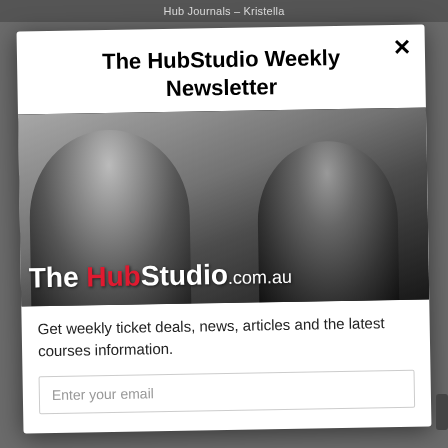Hub Journals – Kristella
The HubStudio Weekly Newsletter
[Figure (photo): Black and white photo of two young people (a woman and a man) facing each other and smiling in what appears to be a studio or classroom environment with other people in the background. A logo overlay reads 'The HubStudio.com.au' with 'Hub' in red and the rest in white.]
Get weekly ticket deals, news, articles and the latest courses information.
Enter your email